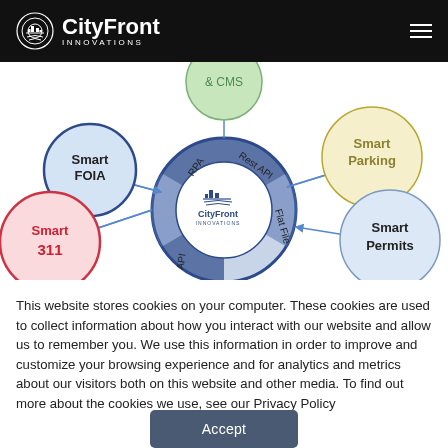CityFront Innovations
[Figure (flowchart): CityFront Innovations product ecosystem diagram showing interconnected circles. Central circle has CityFront logo with surrounding spokes labeled RPA, Rest API, Flat File, API. Outer circles connected by arrows: Smart FOIA (blue, top-left), & CMS (green, top-center), Smart Parking (yellow, top-right), Smart Permits (light blue, right), Smart 311 (red/pink, left).]
This website stores cookies on your computer. These cookies are used to collect information about how you interact with our website and allow us to remember you. We use this information in order to improve and customize your browsing experience and for analytics and metrics about our visitors both on this website and other media. To find out more about the cookies we use, see our Privacy Policy
Accept